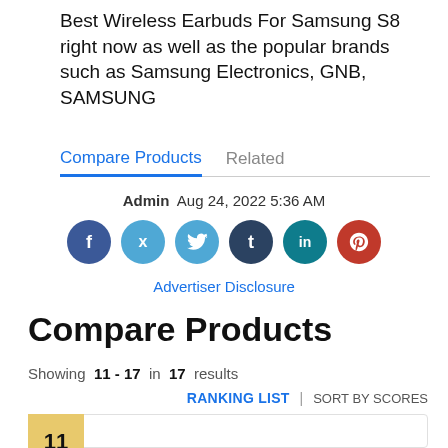Best Wireless Earbuds For Samsung S8 right now as well as the popular brands such as Samsung Electronics, GNB, SAMSUNG
Compare Products | Related
Admin  Aug 24, 2022 5:36 AM
[Figure (infographic): Social share icons: Facebook (dark blue), Twitter (light blue), Tumblr (dark navy), LinkedIn (teal), Pinterest (red)]
Advertiser Disclosure
Compare Products
Showing 11 - 17 in 17 results
RANKING LIST | SORT BY SCORES
11